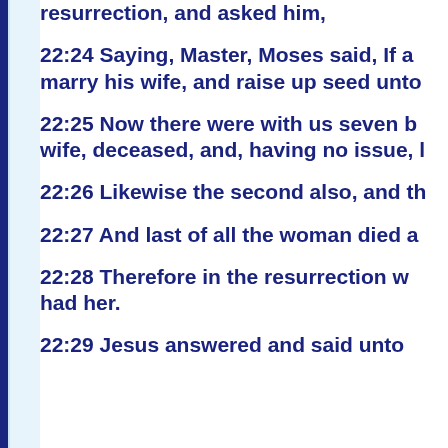22:23 The same day came to him the Sadducees, which say that there is no resurrection, and asked him,
22:24 Saying, Master, Moses said, If a man die, having no children, his brother shall marry his wife, and raise up seed unto his brother.
22:25 Now there were with us seven brethren: and the first, when he had married a wife, deceased, and, having no issue, left his wife unto his brother:
22:26 Likewise the second also, and the third, unto the seventh.
22:27 And last of all the woman died also.
22:28 Therefore in the resurrection whose wife shall she be of the seven? for they all had her.
22:29 Jesus answered and said unto them, Ye do err, not knowing the scriptures, nor the power of God.